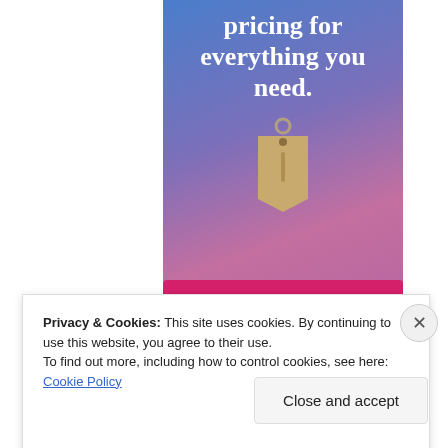[Figure (illustration): Advertisement banner with gradient blue-purple-pink background showing text 'pricing for everything you need.' with a price tag icon and a 'Build Your Website' pink button at the bottom]
Privacy & Cookies: This site uses cookies. By continuing to use this website, you agree to their use.
To find out more, including how to control cookies, see here: Cookie Policy
Close and accept